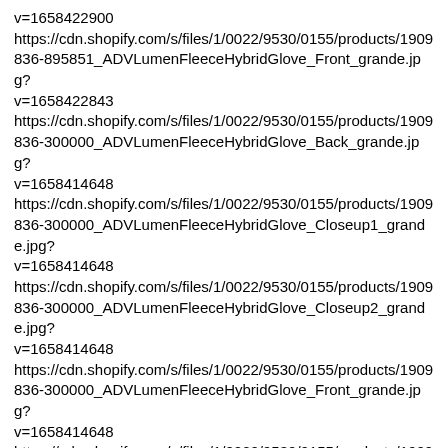v=1658422900
https://cdn.shopify.com/s/files/1/0022/9530/0155/products/1909836-895851_ADVLumenFleeceHybridGlove_Front_grande.jpg?v=1658422843
https://cdn.shopify.com/s/files/1/0022/9530/0155/products/1909836-300000_ADVLumenFleeceHybridGlove_Back_grande.jpg?v=1658414648
https://cdn.shopify.com/s/files/1/0022/9530/0155/products/1909836-300000_ADVLumenFleeceHybridGlove_Closeup1_grande.jpg?v=1658414648
https://cdn.shopify.com/s/files/1/0022/9530/0155/products/1909836-300000_ADVLumenFleeceHybridGlove_Closeup2_grande.jpg?v=1658414648
https://cdn.shopify.com/s/files/1/0022/9530/0155/products/1909836-300000_ADVLumenFleeceHybridGlove_Front_grande.jpg?v=1658414648
https://cdn.shopify.com/s/files/1/0022/9530/0155/products/1909836-999000_ADVLumenFleeceHybridGlove_Closeup1_grande.jpg?v=1658414648
https://cdn.shopify.com/s/files/1/0022/9530/0155/products/1909836-600000_ADVLumenFleeceHybridGlove_Back_grande.jpg?v=1658414648
https://cdn.shopify.com/s/files/1/0022/9530/0155/products/1909836-600000_ADVLumenFleeceHybridGlove_Closeup1_grande.jpg?v=1658414648